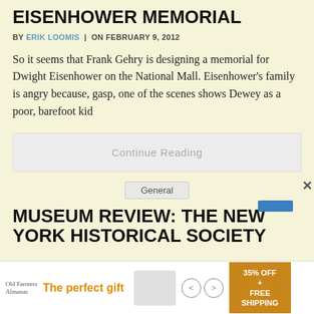EISENHOWER MEMORIAL
BY ERIK LOOMIS | ON FEBRUARY 9, 2012
So it seems that Frank Gehry is designing a memorial for Dwight Eisenhower on the National Mall. Eisenhower’s family is angry because, gasp, one of the scenes shows Dewey as a poor, barefoot kid
Continue Reading
General
MUSEUM REVIEW: THE NEW YORK HISTORICAL SOCIETY
[Figure (other): Advertisement banner at bottom of page showing 'The perfect gift' with food image and '35% OFF + FREE SHIPPING' promotion]